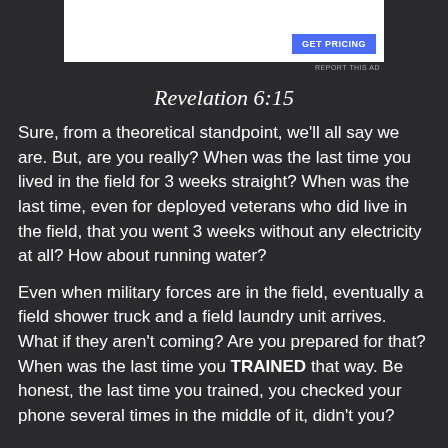[Figure (screenshot): Advertisement banner with blue 'GET PRICING' button on white background]
REPORT THIS AD
Revelation 6:15
Sure, from a theoretical standpoint, we'll all say we are. But, are you really? When was the last time you lived in the field for 3 weeks straight? When was the last time, even for deployed veterans who did live in the field, that you went 3 weeks without any electricity at all? How about running water?
Even when military forces are in the field, eventually a field shower truck and a field laundry unit arrives. What if they aren't coming? Are you prepared for that? When was the last time you TRAINED that way. Be honest, the last time you trained, you checked your phone several times in the middle of it, didn't you?